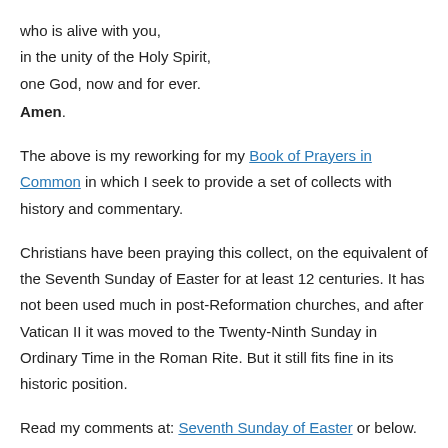who is alive with you,
in the unity of the Holy Spirit,
one God, now and for ever.
Amen.
The above is my reworking for my Book of Prayers in Common in which I seek to provide a set of collects with history and commentary.
Christians have been praying this collect, on the equivalent of the Seventh Sunday of Easter for at least 12 centuries. It has not been used much in post-Reformation churches, and after Vatican II it was moved to the Twenty-Ninth Sunday in Ordinary Time in the Roman Rite. But it still fits fine in its historic position.
Read my comments at: Seventh Sunday of Easter or below.
In the Southern Hemisphere, this is the Week of Prayer for